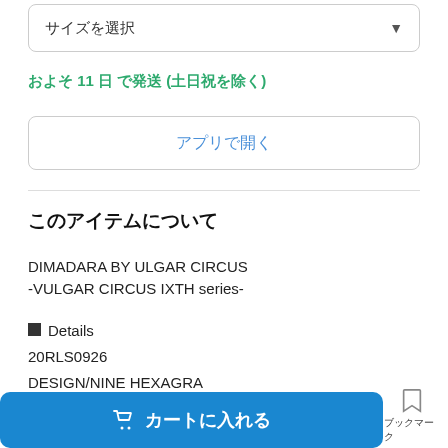サイズを選択
およそ 11 日 で発送 (土日祝を除く)
アプリで開く
このアイテムについて
DIMADARA BY ULGAR CIRCUS
-VULGAR CIRCUS IXTH series-
■Details
20RLS0926
DESIGN/NINE HEXAGRA
🛒 カートに入れる
ブックマーク